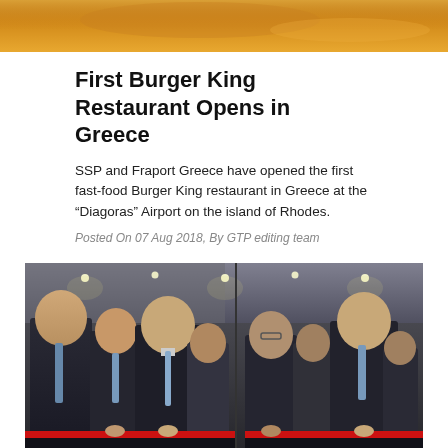[Figure (photo): Top partial photo showing orange/yellow tones, likely a close-up of food]
First Burger King Restaurant Opens in Greece
SSP and Fraport Greece have opened the first fast-food Burger King restaurant in Greece at the “Diagoras” Airport on the island of Rhodes.
Posted On 07 Aug 2018, By GTP editing team
[Figure (photo): Group of men in suits cutting a red ribbon at the opening of the Burger King restaurant at Diagoras Airport, Rhodes, Greece]